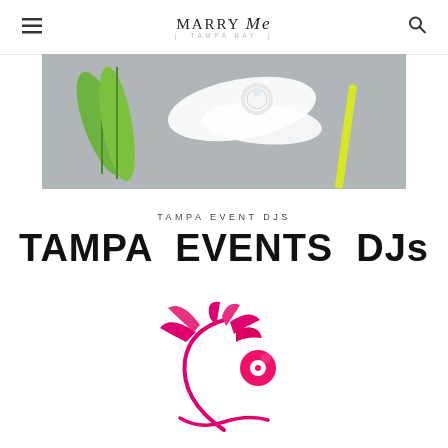MARRY Me | TAMPA BAY |
[Figure (photo): Overhead flat-lay photo of tropical palm leaves, a diamond ring on white ribbon, and a yellow straw on a grey stone/sand textured surface]
TAMPA EVENT DJS
TAMPA EVENTS DJs
[Figure (logo): Tampa Events DJs logo: pink/magenta palm tree with a music note disc, with a pink wave arc forming a smile beneath, on white background]